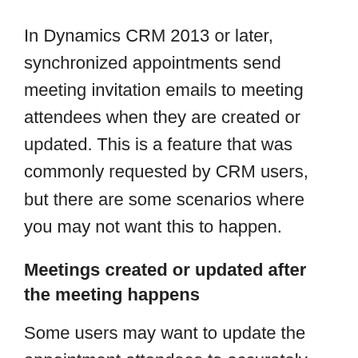In Dynamics CRM 2013 or later, synchronized appointments send meeting invitation emails to meeting attendees when they are created or updated. This is a feature that was commonly requested by CRM users, but there are some scenarios where you may not want this to happen.
Meetings created or updated after the meeting happens
Some users may want to update the appointment attendees to accurately reflect who attended the meeting. Or you may want to create an appointment record after the meeting occurred. In these scenarios, you don't want the attendees getting a retroactive meeting invitation.
One approach that can help with this is to modify the